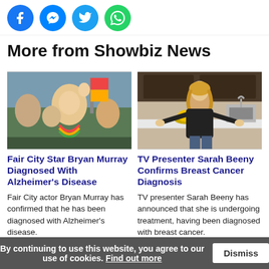[Figure (other): Social share icons: Facebook, Messenger, Twitter, WhatsApp]
More from Showbiz News
[Figure (photo): Man waving at a crowd, people wearing rainbow leis at a parade]
[Figure (photo): Woman in black top standing in a kitchen]
Fair City Star Bryan Murray Diagnosed With Alzheimer's Disease
TV Presenter Sarah Beeny Confirms Breast Cancer Diagnosis
Fair City actor Bryan Murray has confirmed that he has been diagnosed with Alzheimer's disease.
TV presenter Sarah Beeny has announced that she is undergoing treatment, having been diagnosed with breast cancer.
By continuing to use this website, you agree to our use of cookies. Find out more  Dismiss